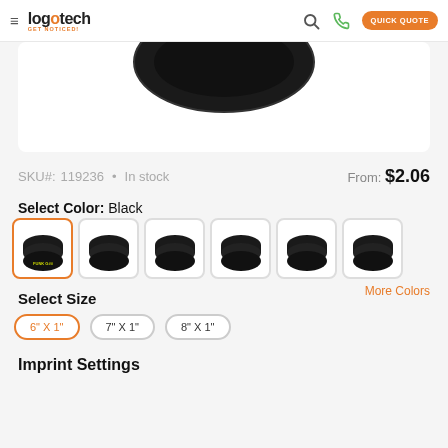logotech GET NOTICED! | Search | Phone | QUICK QUOTE
[Figure (photo): Product image of black silicone wristbands, partially cropped, showing dark round wristbands with text imprint on white background]
SKU#: 119236 • In stock     From: $2.06
Select Color: Black
[Figure (photo): Six color swatch thumbnails showing black wristbands; first thumbnail selected with orange border]
More Colors
Select Size
6" X 1"   7" X 1"   8" X 1"
Imprint Settings